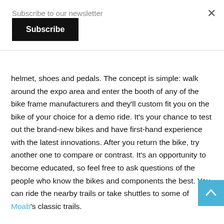Subscribe to our newsletter
Subscribe
helmet, shoes and pedals. The concept is simple: walk around the expo area and enter the booth of any of the bike frame manufacturers and they'll custom fit you on the bike of your choice for a demo ride. It's your chance to test out the brand-new bikes and have first-hand experience with the latest innovations. After you return the bike, try another one to compare or contrast. It's an opportunity to become educated, so feel free to ask questions of the people who know the bikes and components the best. You can ride the nearby trails or take shuttles to some of Moab's classic trails.
In addition to the demos, Outerbike offered a sweet swag bag with an Outerbike T-shirt, free Clif bar products for the trail